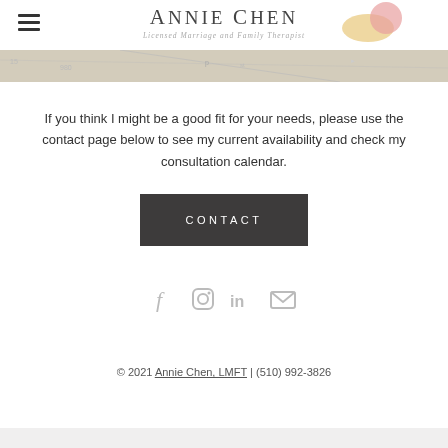Annie Chen | Licensed Marriage and Family Therapist
[Figure (map): Partial map strip visible at top of page]
If you think I might be a good fit for your needs, please use the contact page below to see my current availability and check my consultation calendar.
[Figure (other): Dark rectangular button with text CONTACT]
[Figure (other): Social media icons: Facebook, Instagram, LinkedIn, Email]
© 2021 Annie Chen, LMFT | (510) 992-3826